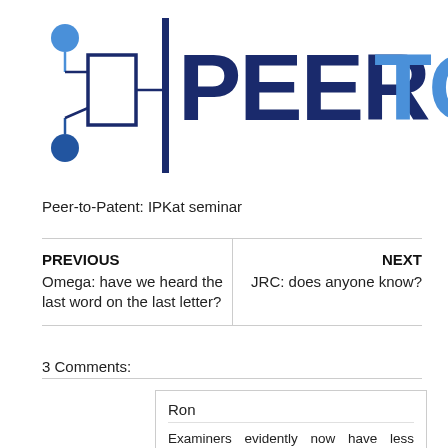[Figure (logo): Peer-to-Patent logo with network diagram icon and blue text 'PEERTOPA' (cropped)]
Peer-to-Patent: IPKat seminar
PREVIOUS
Omega: have we heard the last word on the last letter?
NEXT
JRC: does anyone know?
3 Comments:
Ron
Examiners evidently now have less access to non-patent literature than when I was an examiner some 20 years ago. Before the move to Wales in 1990, examiners had ready access to